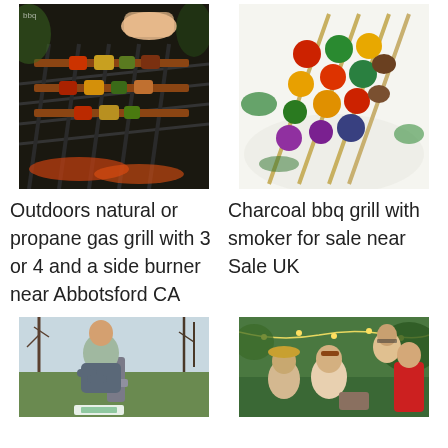[Figure (photo): BBQ skewers being grilled on a charcoal grill outdoors, dark background with glowing coals]
[Figure (photo): Colorful vegetable and meat skewers on a white plate, top-down view]
Outdoors natural or propane gas grill with 3 or 4 and a side burner near Abbotsford CA
Charcoal bbq grill with smoker for sale near Sale UK
[Figure (photo): Man standing outdoors with arms crossed near a cylindrical device, bare trees in background]
[Figure (photo): Group of people socializing outdoors at a garden party with string lights]